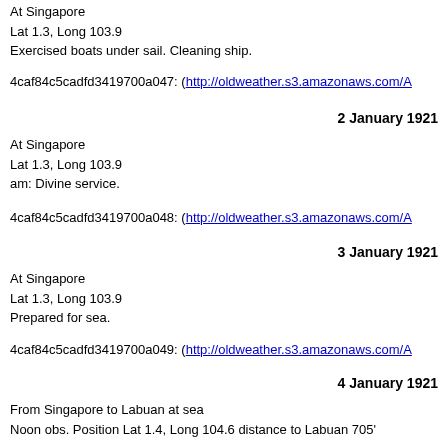At Singapore
Lat 1.3, Long 103.9
Exercised boats under sail. Cleaning ship.
4caf84c5cadfd3419700a047: (http://oldweather.s3.amazonaws.com/A
2 January 1921
At Singapore
Lat 1.3, Long 103.9
am: Divine service.
4caf84c5cadfd3419700a048: (http://oldweather.s3.amazonaws.com/A
3 January 1921
At Singapore
Lat 1.3, Long 103.9
Prepared for sea.
4caf84c5cadfd3419700a049: (http://oldweather.s3.amazonaws.com/A
4 January 1921
From Singapore to Labuan at sea
Noon obs. Position Lat 1.4, Long 104.6 distance to Labuan 705'
9.0am: Weighed and proceeded.
11.14am: Pedra Branca Light House abeam 1.1'
6.30pm: Pengibu Island N31E 15 ½'
4caf84c5cadfd3419700a04a: (http://oldweather.s3.amazonaws.com/A
5 January 1921